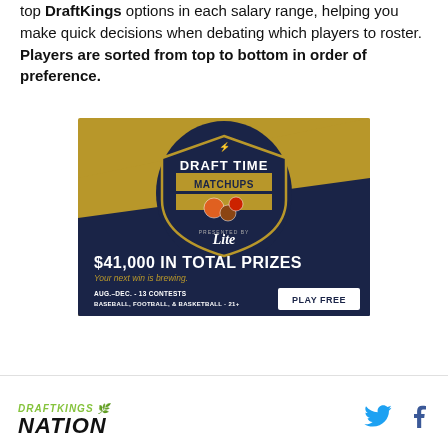top DraftKings options in each salary range, helping you make quick decisions when debating which players to roster. Players are sorted from top to bottom in order of preference.
[Figure (illustration): DraftKings Draft Time Matchups advertisement presented by Miller Lite. Shows sports logo shield with basketball, football, baseball. Text: $41,000 IN TOTAL PRIZES. Your next win is brewing. AUG.–DEC. - 13 CONTESTS. BASEBALL, FOOTBALL, & BASKETBALL - 21+. PLAY FREE button.]
DRAFTKINGS NATION